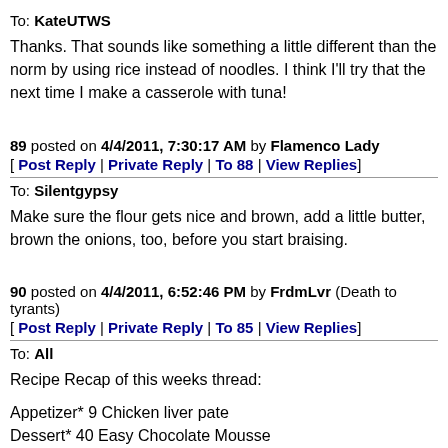To: KateUTWS
Thanks. That sounds like something a little different than the norm by using rice instead of noodles. I think I'll try that the next time I make a casserole with tuna!
89 posted on 4/4/2011, 7:30:17 AM by Flamenco Lady
[ Post Reply | Private Reply | To 88 | View Replies]
To: Silentgypsy
Make sure the flour gets nice and brown, add a little butter, brown the onions, too, before you start braising.
90 posted on 4/4/2011, 6:52:46 PM by FrdmLvr (Death to tyrants)
[ Post Reply | Private Reply | To 85 | View Replies]
To: All
Recipe Recap of this weeks thread:
Appetizer* 9 Chicken liver pate
Dessert* 40 Easy Chocolate Mousse